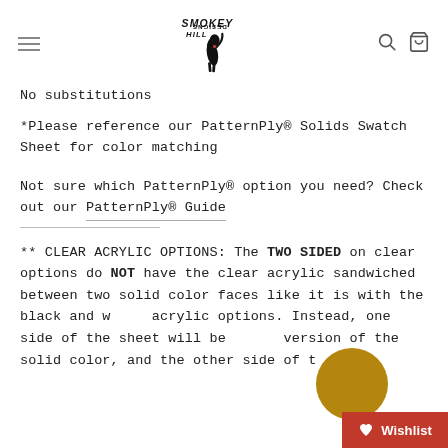Smokey Hill Designs — navigation header with hamburger menu, logo, search icon, and cart icon
No substitutions
*Please reference our PatternPly® Solids Swatch Sheet for color matching
Not sure which PatternPly® option you need? Check out our PatternPly® Guide
** CLEAR ACRYLIC OPTIONS: The TWO SIDED on clear options do NOT have the clear acrylic sandwiched between two solid color faces like it is with the black and white acrylic options. Instead, one side of the sheet will be a more version of the solid color, and the other side of the shows the solid color, not the other...